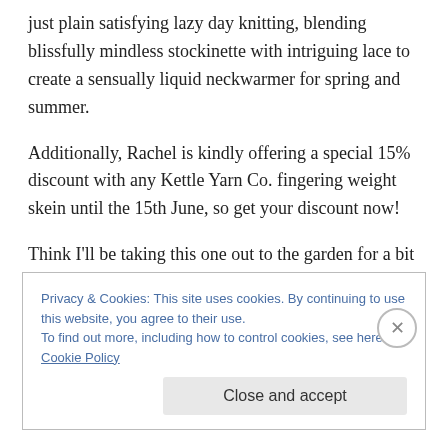just plain satisfying lazy day knitting, blending blissfully mindless stockinette with intriguing lace to create a sensually liquid neckwarmer for spring and summer.
Additionally, Rachel is kindly offering a special 15% discount with any Kettle Yarn Co. fingering weight skein until the 15th June, so get your discount now!
Think I'll be taking this one out to the garden for a bit of sunshine knitting and book reading, myself… As soon as the sun comes back out, that is. ;-?
Privacy & Cookies: This site uses cookies. By continuing to use this website, you agree to their use.
To find out more, including how to control cookies, see here: Cookie Policy